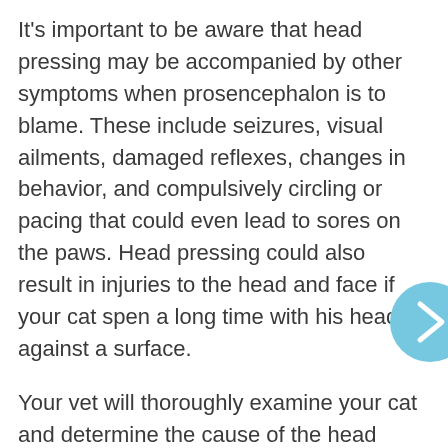It's important to be aware that head pressing may be accompanied by other symptoms when prosencephalon is to blame. These include seizures, visual ailments, damaged reflexes, changes in behavior, and compulsively circling or pacing that could even lead to sores on the paws. Head pressing could also result in injuries to the head and face if your cat spen a long time with his head against a surface.
Your vet will thoroughly examine your cat and determine the cause of the head pressing so that the proper treatment can then be administered.